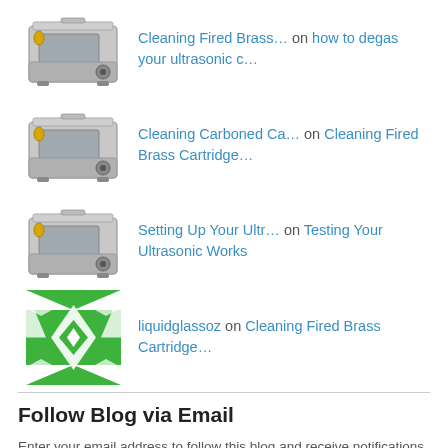Cleaning Fired Brass… on how to degas your ultrasonic c…
Cleaning Carboned Ca… on Cleaning Fired Brass Cartridge…
Setting Up Your Ultr… on Testing Your Ultrasonic Works
liquidglassoz on Cleaning Fired Brass Cartridge…
Follow Blog via Email
Enter your email address to follow this blog and receive notifications of new posts by email.